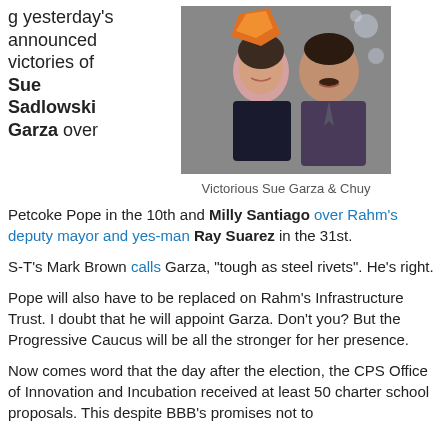g yesterday's announced victories of Sue Sadlowski Garza over
[Figure (photo): Photo of Sue Garza and Chuy smiling together at an event, with an orange star-shaped balloon in the background.]
Victorious Sue Garza & Chuy
Petcoke Pope in the 10th and Milly Santiago over Rahm's deputy mayor and yes-man Ray Suarez in the 31st.
S-T's Mark Brown calls Garza, "tough as steel rivets". He's right.
Pope will also have to be replaced on Rahm's Infrastructure Trust. I doubt that he will appoint Garza. Don't you? But the Progressive Caucus will be all the stronger for her presence.
Now comes word that the day after the election, the CPS Office of Innovation and Incubation received at least 50 charter school proposals. This despite BBB's promises not to